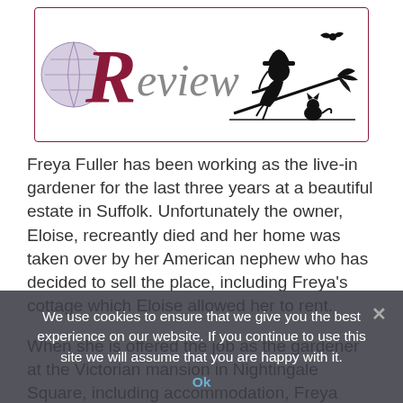[Figure (illustration): A decorative 'Review' header graphic inside a rounded-rectangle border. Features an ornate dark red cursive 'R' with 'eview' in gray, a purple moon globe on the left, and a black silhouette witch on broomstick with a cat and bat on the right.]
Freya Fuller has been working as the live-in gardener for the last three years at a beautiful estate in Suffolk. Unfortunately the owner, Eloise, recreantly died and her home was taken over by her American nephew who has decided to sell the place, including Freya's cottage which Eloise allowed her to rent.
When she is offered the job as the gardener at the Victorian mansion in Nightingale Square, including accommodation, Freya jumps at the chance, especially as she can bring Nell, Eloise's dog with her. The residents of Nightingale Square are all lovely and friendly with the exception of local artist Finn who has been brought in to
We use cookies to ensure that we give you the best experience on our website. If you continue to use this site we will assume that you are happy with it.